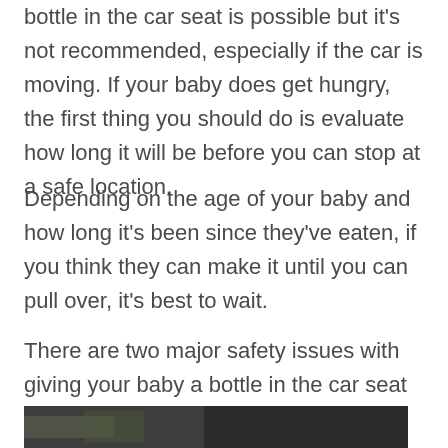bottle in the car seat is possible but it's not recommended, especially if the car is moving. If your baby does get hungry, the first thing you should do is evaluate how long it will be before you can stop at a safe location.
Depending on the age of your baby and how long it's been since they've eaten, if you think they can make it until you can pull over, it's best to wait.
There are two major safety issues with giving your baby a bottle in the car seat and a couple of practical ones as well.
[Figure (photo): Photo of a baby in a car seat, partially visible at the bottom of the page]